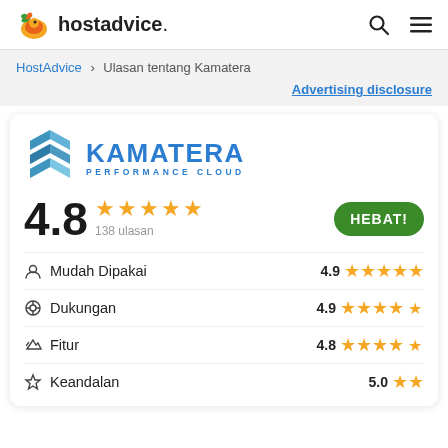hostadvice.
HostAdvice > Ulasan tentang Kamatera
Advertising disclosure
[Figure (logo): Kamatera Performance Cloud logo with stacked blue hexagon layers icon and blue KAMATERA PERFORMANCE CLOUD text]
4.8 ★★★★★ 138 ulasan HEBAT!
Mudah Dipakai 4.9 ★★★★★
Dukungan 4.9 ★★★★★
Fitur 4.8 ★★★★½
Keandalan 5.0 ★★★★★